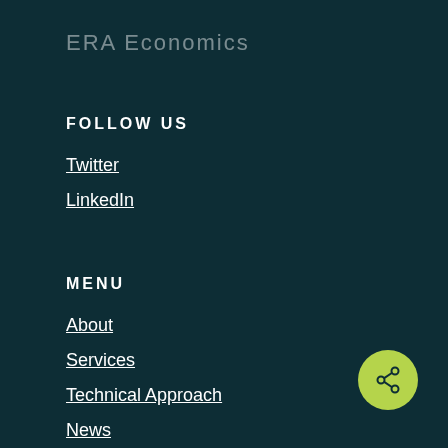ERA Economics
FOLLOW US
Twitter
LinkedIn
MENU
About
Services
Technical Approach
News
[Figure (other): Green circular share/network button icon in bottom right corner]